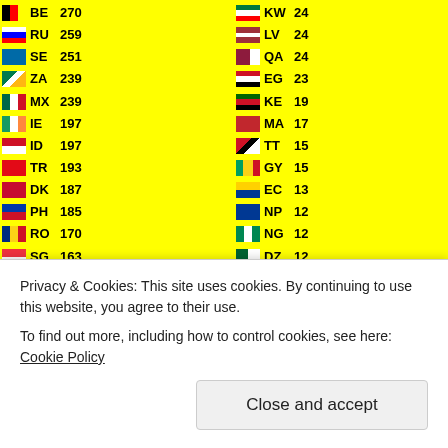| Flag | Code | Count | Flag | Code | Count |
| --- | --- | --- | --- | --- | --- |
| BE | 270 | KW | 24 |
| RU | 259 | LV | 24 |
| SE | 251 | QA | 24 |
| ZA | 239 | EG | 23 |
| MX | 239 | KE | 19 |
| IE | 197 | MA | 17 |
| ID | 197 | TT | 15 |
| TR | 193 | GY | 15 |
| DK | 187 | EC | 13 |
| PH | 185 | NP | 12 |
| RO | 170 | NG | 12 |
| SG | 163 | DZ | 12 |
| FI | 147 | KH | 12 |
| AR | 145 | IS | 12 |
| KR | 142 | VG | 12 |
| CH | 141 | GT | 11 |
| NO | 130 | MK | 11 |
| MY | 123 | JO | 10 |
| NZ | 121 | DO | 10 |
| PT | 111 | GE | 10 |
| HK | 107 | OM | 10 |
| TW | 107 | UY | 10 |
| TH | 106 | EE | 9 |
Privacy & Cookies: This site uses cookies. By continuing to use this website, you agree to their use.
To find out more, including how to control cookies, see here: Cookie Policy